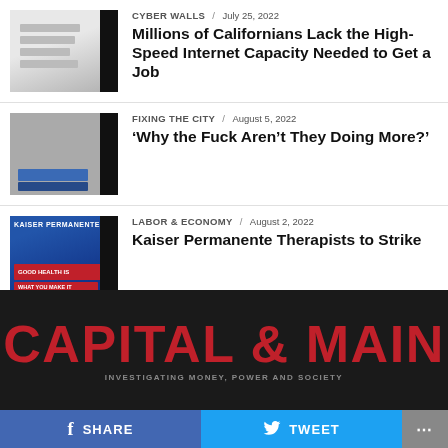CYBER WALLS / July 25, 2022 — Millions of Californians Lack the High-Speed Internet Capacity Needed to Get a Job
FIXING THE CITY / August 5, 2022 — ‘Why the Fuck Aren’t They Doing More?’
LABOR & ECONOMY / August 2, 2022 — Kaiser Permanente Therapists to Strike
[Figure (logo): Capital & Main logo — large bold red text on dark background with tagline 'INVESTIGATING MONEY, POWER AND SOCIETY']
SHARE   TWEET